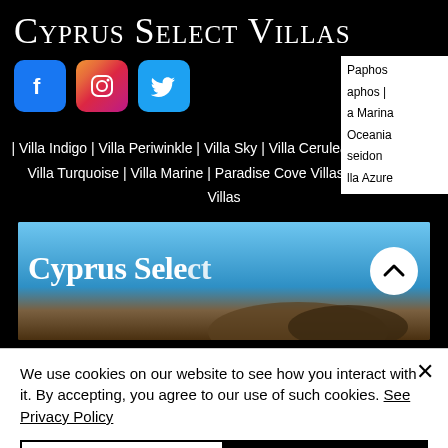Cyprus Select Villas
[Figure (logo): Social media icons: Facebook (blue), Instagram (gradient), Twitter (blue), and hamburger menu icon in teal]
Paphos | aphos | a Marina | Oceania | seidon | lla Azure
| Villa Indigo | Villa Periwinkle | Villa Sky | Villa Cerulean | Villa Aqua | Villa Turquoise | Villa Marine | Paradise Cove Villas | Blue Coral Villas
[Figure (photo): Hero image with Cyprus Select text overlay and a circular scroll-up button]
We use cookies on our website to see how you interact with it. By accepting, you agree to our use of such cookies. See Privacy Policy
Cookie Settings
Accept